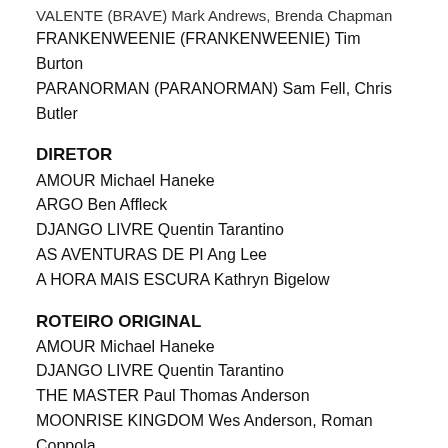VALENTE (BRAVE) Mark Andrews, Brenda Chapman
FRANKENWEENIE (FRANKENWEENIE) Tim Burton
PARANORMAN (PARANORMAN) Sam Fell, Chris Butler
DIRETOR
AMOUR Michael Haneke
ARGO Ben Affleck
DJANGO LIVRE Quentin Tarantino
AS AVENTURAS DE PI Ang Lee
A HORA MAIS ESCURA Kathryn Bigelow
ROTEIRO ORIGINAL
AMOUR Michael Haneke
DJANGO LIVRE Quentin Tarantino
THE MASTER Paul Thomas Anderson
MOONRISE KINGDOM Wes Anderson, Roman Coppola
A HORA MAIS ESCURA Mark Boal